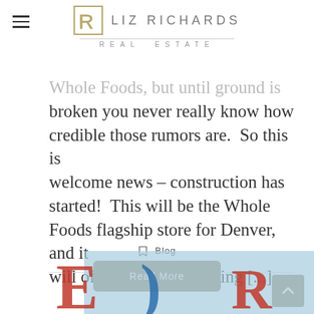LIZ RICHARDS REAL ESTATE
Whole Foods, but until ground is broken you never really know how credible those rumors are. So this is welcome news – construction has started! This will be the Whole Foods flagship store for Denver, and it will offer extended catering [...]
Blog
Read More
[Figure (illustration): Partial view of a decorative image with large stylized letters in red and blue on a light blue background at the bottom of the page.]